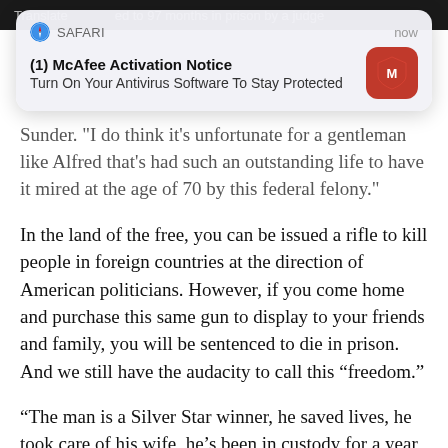[Figure (screenshot): Safari browser notification overlay: '(1) McAfee Activation Notice - Turn On Your Antivirus Software To Stay Protected' with McAfee red shield icon, labeled 'now']
Sunder. "I do think it's unfortunate for a gentleman like Alfred that's had such an outstanding life to have it mired at the age of 70 by this federal felony."
In the land of the free, you can be issued a rifle to kill people in foreign countries at the direction of American politicians. However, if you come home and purchase this same gun to display to your friends and family, you will be sentenced to die in prison. And we still have the audacity to call this “freedom.”
“The man is a Silver Star winner, he saved lives, he took care of his wife, he’s been in custody for a year, I would think that when a man turned 70 and is an American hero you don’t destroy the rest of his life for one mistake,” said Shackelford.